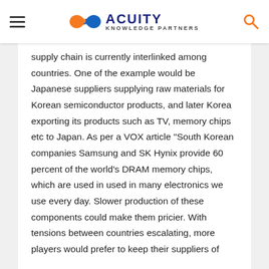Acuity Knowledge Partners
supply chain is currently interlinked among countries. One of the example would be Japanese suppliers supplying raw materials for Korean semiconductor products, and later Korea exporting its products such as TV, memory chips etc to Japan. As per a VOX article "South Korean companies Samsung and SK Hynix provide 60 percent of the world's DRAM memory chips, which are used in used in many electronics we use every day. Slower production of these components could make them pricier. With tensions between countries escalating, more players would prefer to keep their suppliers of